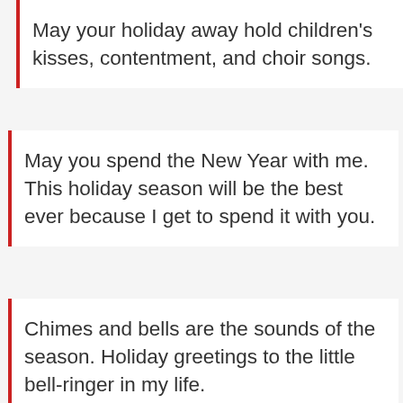May your holiday away hold children's kisses, contentment, and choir songs.
May you spend the New Year with me. This holiday season will be the best ever because I get to spend it with you.
Chimes and bells are the sounds of the season. Holiday greetings to the little bell-ringer in my life.
The street is bright with colored lights that